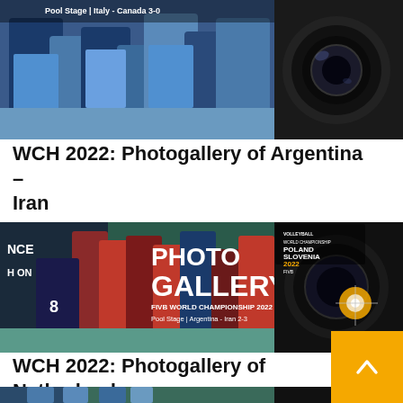[Figure (photo): Top portion of a split image showing volleyball players in blue uniforms on the left and a camera lens on the right, with text 'Pool Stage | Italy - Canada 3-0' overlaid. This is the bottom of the Italy-Canada photogallery card.]
WCH 2022: Photogallery of Argentina – Iran
[Figure (photo): Split image: left side shows volleyball players celebrating (Argentina vs Iran match), right side shows a camera lens with bright light. Overlaid text reads 'PHOTO GALLERY', 'FIVB WORLD CHAMPIONSHIP 2022', 'Pool Stage | Argentina - Iran 2-3', and Poland/Slovenia 2022 FIVB logo.]
WCH 2022: Photogallery of Netherlands – Egypt
[Figure (photo): Bottom partial image of the Netherlands-Egypt photogallery card, showing volleyball players and partial camera lens.]